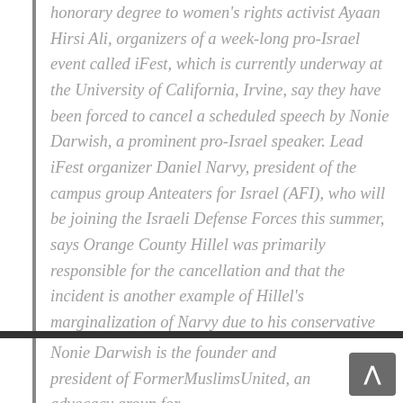honorary degree to women's rights activist Ayaan Hirsi Ali, organizers of a week-long pro-Israel event called iFest, which is currently underway at the University of California, Irvine, say they have been forced to cancel a scheduled speech by Nonie Darwish, a prominent pro-Israel speaker. Lead iFest organizer Daniel Narvy, president of the campus group Anteaters for Israel (AFI), who will be joining the Israeli Defense Forces this summer, says Orange County Hillel was primarily responsible for the cancellation and that the incident is another example of Hillel's marginalization of Narvy due to his conservative and traditional views.
Nonie Darwish is the founder and president of FormerMuslimsUnited, an advocacy group for